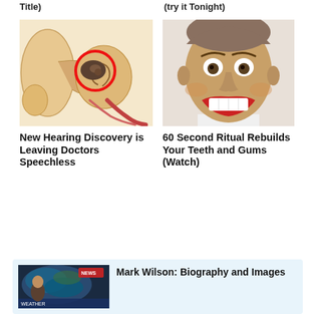Title)
(try it Tonight)
[Figure (illustration): Cross-section diagram of the human ear with a red circle highlighting the middle ear ossicles area]
[Figure (photo): Close-up photo of a man with wide eyes and a big grin showing teeth]
New Hearing Discovery is Leaving Doctors Speechless
60 Second Ritual Rebuilds Your Teeth and Gums (Watch)
[Figure (screenshot): Weather map screenshot showing satellite or radar imagery with a man in the foreground]
Mark Wilson: Biography and Images